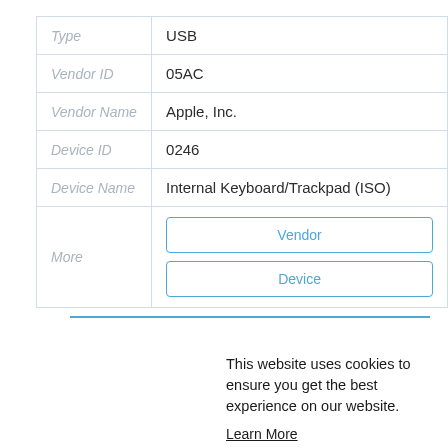|  |  |
| --- | --- |
| Type | USB |
| Vendor ID | 05AC |
| Vendor Name | Apple, Inc. |
| Device ID | 0246 |
| Device Name | Internal Keyboard/Trackpad (ISO) |
| More | Vendor | Device |
|  |  |
| --- | --- |
| Type |  |
| Vendor ID |  |
| Vendor Name |  |
| Device ID |  |
| Device Name |  |
|  | Vendor |
This website uses cookies to ensure you get the best experience on our website.
Learn More
Got it!